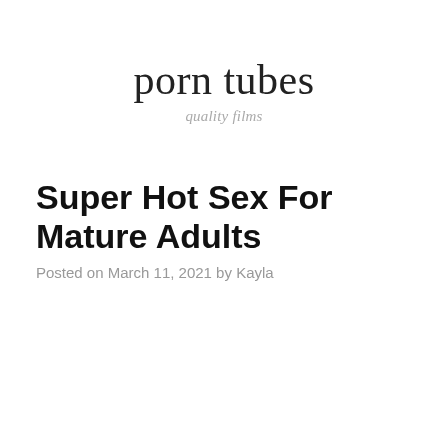porn tubes
quality films
Super Hot Sex For Mature Adults
Posted on March 11, 2021 by Kayla